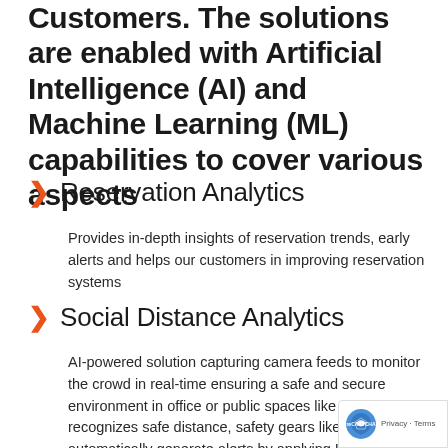Customers. The solutions are enabled with Artificial Intelligence (AI) and Machine Learning (ML) capabilities to cover various aspects
Reservation Analytics — Provides in-depth insights of reservation trends, early alerts and helps our customers in improving reservation systems
Social Distance Analytics — AI-powered solution capturing camera feeds to monitor the crowd in real-time ensuring a safe and secure environment in office or public spaces like airport. It recognizes safe distance, safety gears like a mask and automatically generate alerts by applying IGT's proprietary ML algorithms for individuals not following the safety rules.